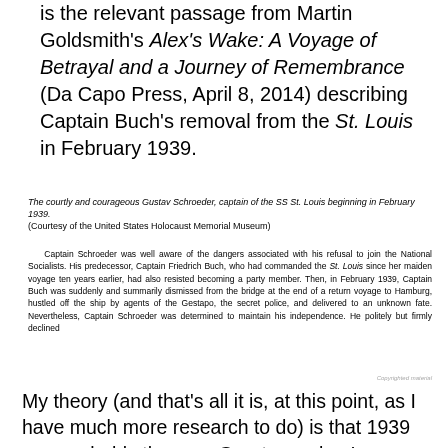is the relevant passage from Martin Goldsmith's Alex's Wake: A Voyage of Betrayal and a Journey of Remembrance (Da Capo Press, April 8, 2014) describing Captain Buch's removal from the St. Louis in February 1939.
The courtly and courageous Gustav Schroeder, captain of the SS St. Louis beginning in February 1939.
(Courtesy of the United States Holocaust Memorial Museum)
Captain Schroeder was well aware of the dangers associated with his refusal to join the National Socialists. His predecessor, Captain Friedrich Buch, who had commanded the St. Louis since her maiden voyage ten years earlier, had also resisted becoming a party member. Then, in February 1939, Captain Buch was suddenly and summarily dismissed from the bridge at the end of a return voyage to Hamburg, hustled off the ship by agents of the Gestapo, the secret police, and delivered to an unknown fate. Nevertheless, Captain Schroeder was determined to maintain his independence. He politely but firmly declined
My theory (and that's all it is, at this point, as I have much more research to do) is that 1939 was probably the year Great-grandpa Leo either resigned in solidarity with Capt. Buch, or was dismissed from the Hamburg-Amerika Line, possibly because his spouse was Jewish. Mind you, he